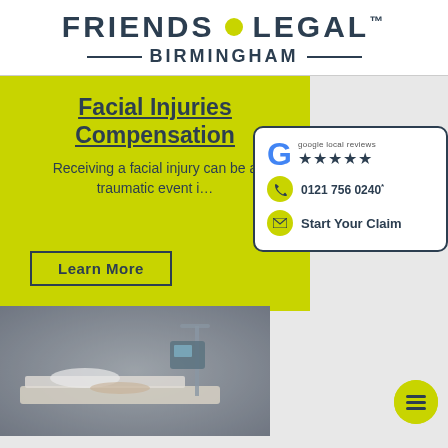FRIENDS LEGAL™ BIRMINGHAM
Facial Injuries Compensation
Receiving a facial injury can be a traumatic event i…
google local reviews ★★★★★
0121 756 0240*
Start Your Claim
Learn More
[Figure (photo): Hospital room with medical equipment and patient bed, blurred background]